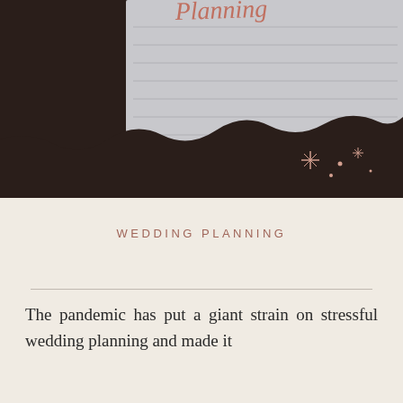[Figure (illustration): Dark brown background with a torn notepad/paper graphic showing lined paper with a cursive script text at top (partially visible), decorative sparkle/star elements in the lower right corner, and a small circle element.]
WEDDING PLANNING
The pandemic has put a giant strain on stressful wedding planning and made it